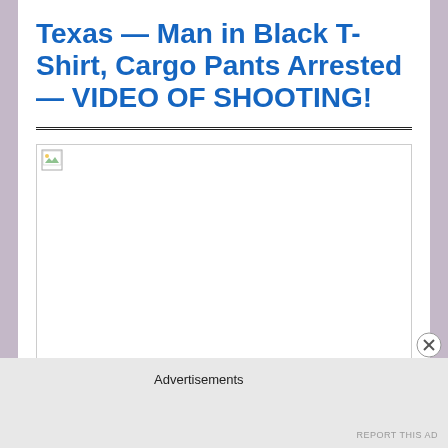Texas — Man in Black T-Shirt, Cargo Pants Arrested — VIDEO OF SHOOTING!
[Figure (photo): Broken/unloaded image placeholder with small image icon in top-left corner]
Advertisements